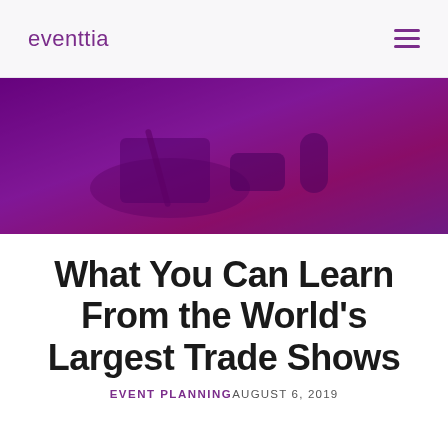eventtia
[Figure (photo): Purple-tinted hero banner photo showing a desk scene with a notebook, pen and phone, overlaid with a dark purple/magenta gradient.]
What You Can Learn From the World's Largest Trade Shows
EVENT PLANNING AUGUST 6, 2019